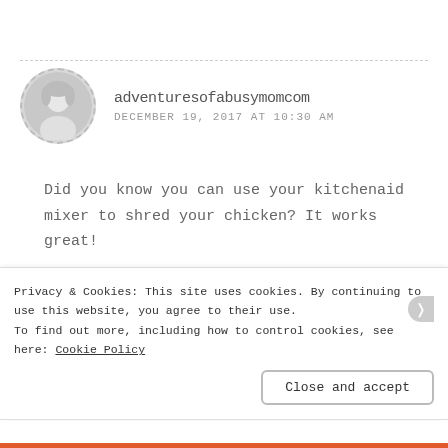[Figure (photo): Circular avatar photo of a person with light hair, bordered with a dashed circle outline]
adventuresofabusymomcom
DECEMBER 19, 2017 AT 10:30 AM
Did you know you can use your kitchenaid mixer to shred your chicken? It works great!
★ Liked by 1 person
Privacy & Cookies: This site uses cookies. By continuing to use this website, you agree to their use.
To find out more, including how to control cookies, see here: Cookie Policy
Close and accept